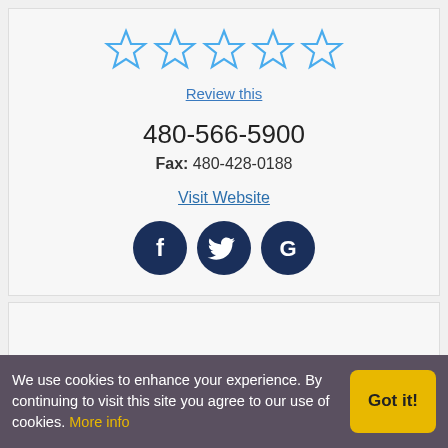[Figure (other): Five empty star rating icons in blue outline style]
Review this
480-566-5900
Fax: 480-428-0188
Visit Website
[Figure (other): Three dark blue circular social media icons: Facebook (f), Twitter (bird), Google (G)]
We use cookies to enhance your experience. By continuing to visit this site you agree to our use of cookies. More info
Got it!